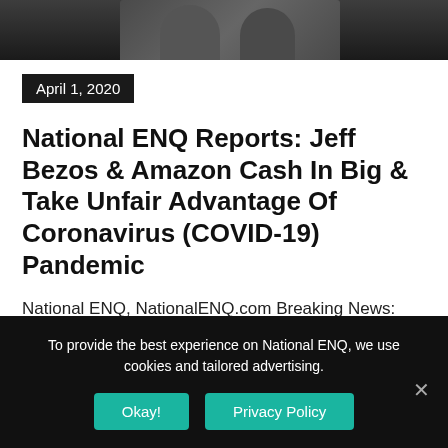[Figure (photo): Dark photo of people, partially cropped at top of page]
April 1, 2020
National ENQ Reports: Jeff Bezos & Amazon Cash In Big & Take Unfair Advantage Of Coronavirus (COVID-19) Pandemic
National ENQ, NationalENQ.com Breaking News: Jeff Bezos, Amazon exploiting coronavirus (COVID-19) pandemic, takes from $2.2 trillion stimulus package.
To provide the best experience on National ENQ, we use cookies and tailored advertising.